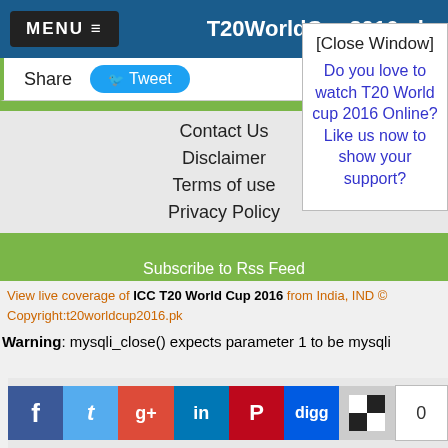MENU ≡   T20WorldCup2016.pk
Share   Tweet
Contact Us
Disclaimer
Terms of use
Privacy Policy
[Close Window]
Do you love to watch T20 World cup 2016 Online? Like us now to show your support?
Subscribe to Rss Feed
View live coverage of ICC T20 World Cup 2016 from India, IND © Copyright:t20worldcup2016.pk
Warning: mysqli_close() expects parameter 1 to be mysqli
[Figure (screenshot): Social media sharing icons: Facebook, Twitter, Google+, LinkedIn, Pinterest, Digg, ShareThis, with counter showing 0]